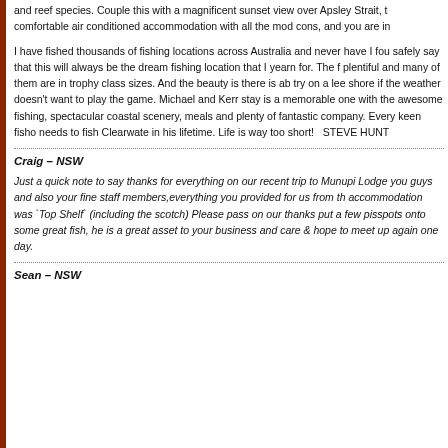and reef species. Couple this with a magnificent sunset view over Apsley Strait, comfortable air conditioned accommodation with all the mod cons, and you are i...
I have fished thousands of fishing locations across Australia and never have I fou... safely say that this will always be the dream fishing location that I yearn for. The fish are plentiful and many of them are in trophy class sizes. And the beauty is there is always a lee shore to try on a lee shore if the weather doesn't want to play the game. Michael and Kerr... stay is a memorable one with the awesome fishing, spectacular coastal scenery, meals and plenty of fantastic company. Every keen fisho needs to fish Clearwater... in his lifetime. Life is way too short!   STEVE HUNT
Craig – NSW
Just a quick note to say thanks for everything on our recent trip to Munupi Lodge... you guys and also your fine staff members,everything you provided for us from the accommodation was `Top Shelf` (including the scotch) Please pass on our thanks... put a few pisspots onto some great fish, he is a great asset to your business and care & hope to meet up again one day.
Sean – NSW